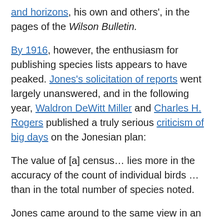and horizons, his own and others', in the pages of the Wilson Bulletin.
By 1916, however, the enthusiasm for publishing species lists appears to have peaked. Jones's solicitation of reports went largely unanswered, and in the following year, Waldron DeWitt Miller and Charles H. Rogers published a truly serious criticism of big days on the Jonesian plan:
The value of [a] census… lies more in the accuracy of the count of individual birds … than in the total number of species noted.
Jones came around to the same view in an